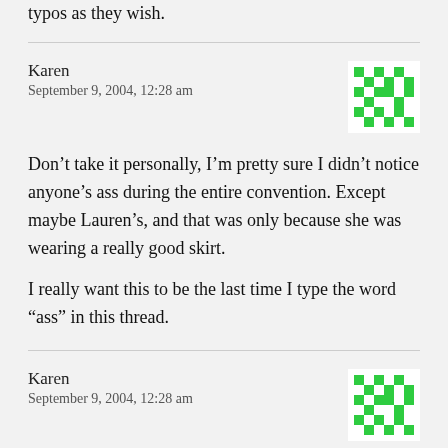typos as they wish.
Karen
September 9, 2004, 12:28 am
[Figure (illustration): Green pixelated/geometric avatar icon]
Don’t take it personally, I’m pretty sure I didn’t notice anyone’s ass during the entire convention. Except maybe Lauren’s, and that was only because she was wearing a really good skirt.

I really want this to be the last time I type the word “ass” in this thread.
Karen
September 9, 2004, 12:28 am
[Figure (illustration): Green pixelated/geometric avatar icon]